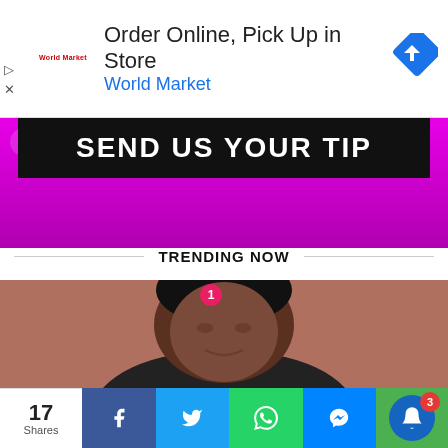[Figure (screenshot): Advertisement banner: Order Online, Pick Up in Store - World Market with diamond-shaped icon]
[Figure (screenshot): SEND US YOUR TIP banner with black text on black bar over pink/magenta gradient background]
TRENDING NOW
[Figure (photo): Close-up photo of a man's face with a red badge showing number 1]
[Figure (screenshot): Share bar with 17 Shares, Facebook, Twitter, WhatsApp, Messenger buttons and notification bell with badge 3]